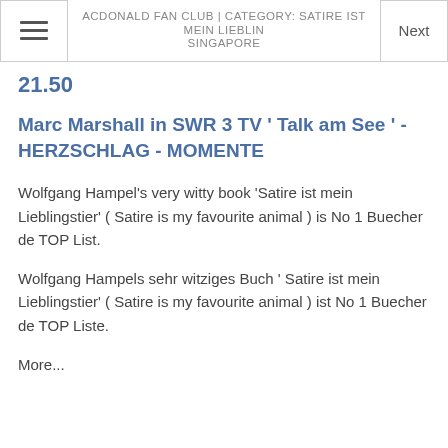ACDONALD FAN CLUB | CATEGORY: SATIRE IST MEIN LIEBLIN... SINGAPORE
21.50
Marc Marshall in SWR 3 TV ' Talk am See ' - HERZSCHLAG - MOMENTE
Wolfgang Hampel's very witty book 'Satire ist mein Lieblingstier' ( Satire is my favourite animal ) is No 1 Buecher de TOP List.
Wolfgang Hampels sehr witziges Buch ' Satire ist mein Lieblingstier' ( Satire is my favourite animal ) ist No 1 Buecher de TOP Liste.
More...